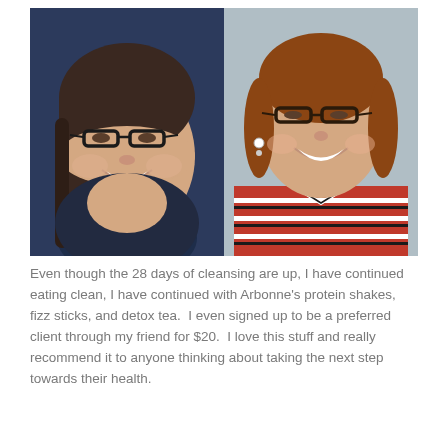[Figure (photo): Before and after side-by-side photos of a woman. Left photo shows her in a dark navy top with glasses. Right photo shows her in a red and white striped top with glasses and earrings, appearing slimmer.]
Even though the 28 days of cleansing are up, I have continued eating clean, I have continued with Arbonne's protein shakes, fizz sticks, and detox tea.  I even signed up to be a preferred client through my friend for $20.  I love this stuff and really recommend it to anyone thinking about taking the next step towards their health.